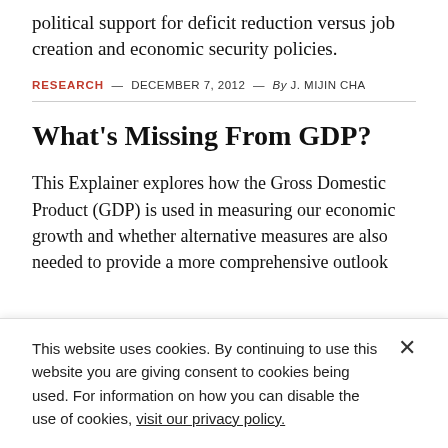political support for deficit reduction versus job creation and economic security policies.
RESEARCH — DECEMBER 7, 2012 — By J. MIJIN CHA
What's Missing From GDP?
This Explainer explores how the Gross Domestic Product (GDP) is used in measuring our economic growth and whether alternative measures are also needed to provide a more comprehensive outlook
This website uses cookies. By continuing to use this website you are giving consent to cookies being used. For information on how you can disable the use of cookies, visit our privacy policy.